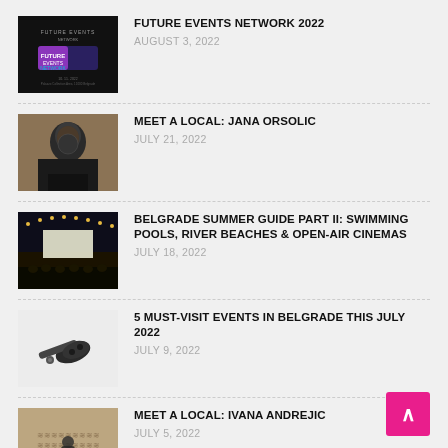FUTURE EVENTS NETWORK 2022 — AUGUST 3, 2022
MEET A LOCAL: JANA ORSOLIC — JULY 21, 2022
BELGRADE SUMMER GUIDE PART II: SWIMMING POOLS, RIVER BEACHES & OPEN-AIR CINEMAS — JULY 18, 2022
5 MUST-VISIT EVENTS IN BELGRADE THIS JULY 2022 — JULY 9, 2022
MEET A LOCAL: IVANA ANDREJIC — JULY 5, 2022